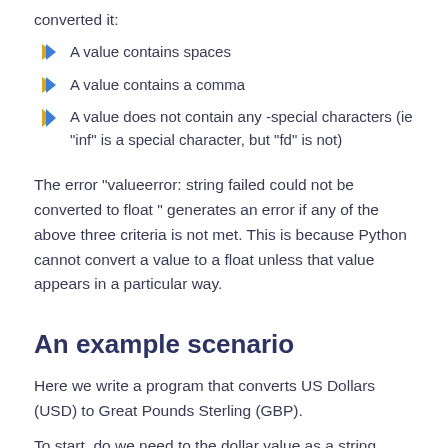converted it:
A value contains spaces
A value contains a comma
A value does not contain any -special characters (ie "inf" is a special character, but "fd" is not)
The error "valueerror: string failed could not be converted to float " generates an error if any of the above three criteria is not met. This is because Python cannot convert a value to a float unless that value appears in a particular way.
An example scenario
Here we write a program that converts US Dollars (USD) to Great Pounds Sterling (GBP).
To start, do we need to the dollar value as a string.